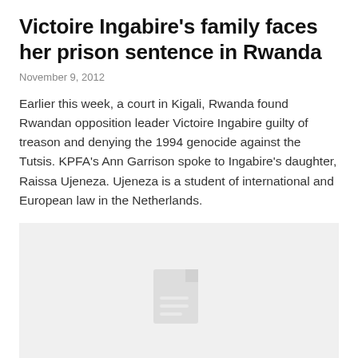Victoire Ingabire's family faces her prison sentence in Rwanda
November 9, 2012
Earlier this week, a court in Kigali, Rwanda found Rwandan opposition leader Victoire Ingabire guilty of treason and denying the 1994 genocide against the Tutsis. KPFA's Ann Garrison spoke to Ingabire's daughter, Raissa Ujeneza. Ujeneza is a student of international and European law in the Netherlands.
[Figure (other): Placeholder image with a document/image icon on a light gray background]
Verdict pending: Victoire Ingabire and D.R.